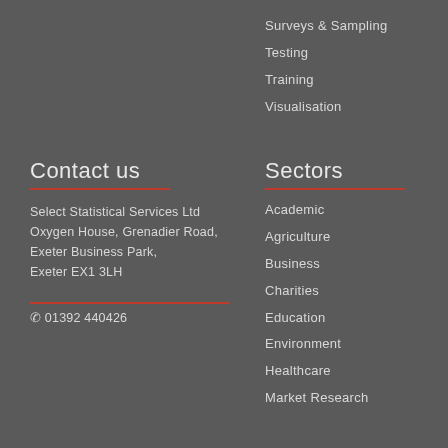Surveys & Sampling
Testing
Training
Visualisation
Contact us
Select Statistical Services Ltd
Oxygen House, Grenadier Road, Exeter Business Park,
Exeter EX1 3LH
01392 440426
Sectors
Academic
Agriculture
Business
Charities
Education
Environment
Healthcare
Market Research